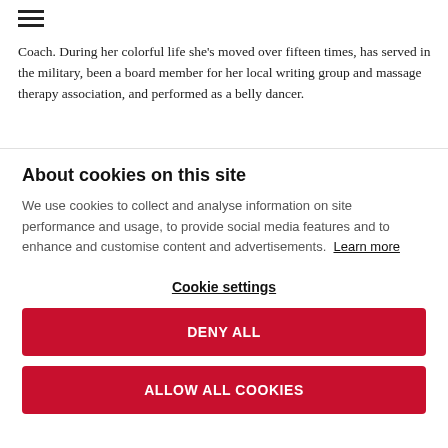[Figure (other): Hamburger menu icon (three horizontal lines)]
Coach. During her colorful life she's moved over fifteen times, has served in the military, been a board member for her local writing group and massage therapy association, and performed as a belly dancer.
About cookies on this site
We use cookies to collect and analyse information on site performance and usage, to provide social media features and to enhance and customise content and advertisements. Learn more
Cookie settings
DENY ALL
ALLOW ALL COOKIES